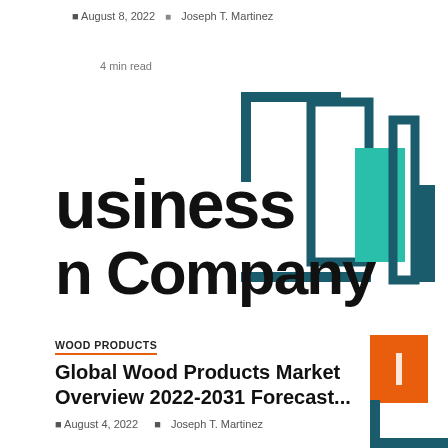August 8, 2022  Joseph T. Martinez
4 min read
[Figure (logo): Business Company logo with stylized bar chart graphic in teal and dark teal, showing partial text 'usiness' and 'n Company' in bold black lettering]
WOOD PRODUCTS
Global Wood Products Market Overview 2022-2031 Forecast...
August 4, 2022  Joseph T. Martinez